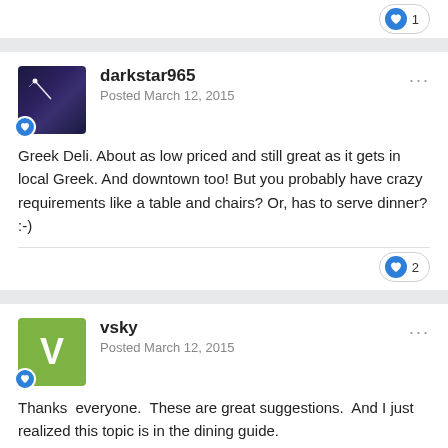[Figure (other): Like button with count 1 at top right]
darkstar965
Posted March 12, 2015
Greek Deli. About as low priced and still great as it gets in local Greek. And downtown too! But you probably have crazy requirements like a table and chairs? Or, has to serve dinner? :-)
[Figure (other): Like button with count 2]
vsky
Posted March 12, 2015
Thanks  everyone.  These are great suggestions.  And I just realized this topic is in the dining guide.